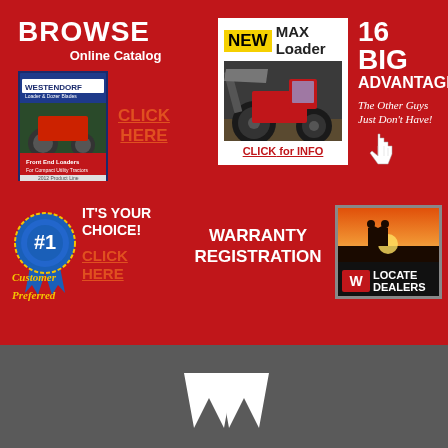BROWSE Online Catalog
CLICK HERE
[Figure (illustration): Westendorf product catalog cover showing tractors with loaders]
[Figure (photo): NEW MAX Loader - tractor loader equipment photo with yellow NEW badge. CLICK for INFO link.]
16 BIG ADVANTAGES The Other Guys Just Don't Have!
[Figure (illustration): Blue #1 Customer Preferred ribbon/award badge]
IT'S YOUR CHOICE!
CLICK HERE
WARRANTY REGISTRATION
[Figure (photo): Dealer handshake silhouette sunset photo with Westendorf logo and LOCATE DEALERS text]
[Figure (logo): Westendorf W logo mark at bottom on gray background]